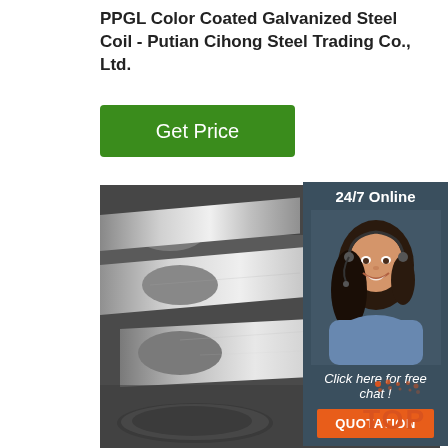PPGL Color Coated Galvanized Steel Coil - Putian Cihong Steel Trading Co., Ltd.
[Figure (other): Green 'Get Price' button]
[Figure (photo): Photo of galvanized steel round bars/rods stacked together, silvery-gray metallic surface]
[Figure (infographic): 24/7 Online chat widget with woman wearing headset, 'Click here for free chat!' text, and orange QUOTATION button]
[Figure (logo): Orange TOP badge with dot pattern in top-right of image area]